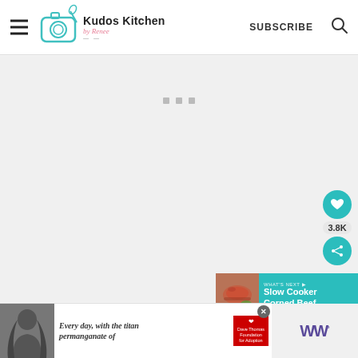Kudos Kitchen by Renee — SUBSCRIBE
[Figure (screenshot): Main content area of Kudos Kitchen website, grey background with three small grey squares/dots visible as loading indicators]
[Figure (infographic): Social sidebar with teal heart button, 3.8K count label, and teal share button]
[Figure (infographic): What's next recipe preview banner showing Slow Cooker Corned Beef with photo of raw meat]
[Figure (screenshot): Advertisement banner: Every day, with the Titan permanganate of adoption — Dave Thomas Foundation for Adoption. Shows a woman's photo on left and red heart charity logo.]